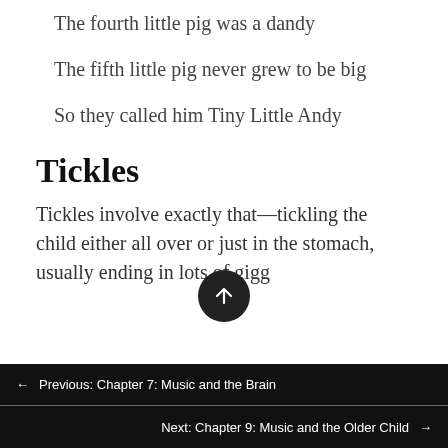The fourth little pig was a dandy
The fifth little pig never grew to be big
So they called him Tiny Little Andy
Tickles
Tickles involve exactly that—tickling the child either all over or just in the stomach, usually ending in lots of gigg…
Previous: Chapter 7: Music and the Brain | Next: Chapter 9: Music and the Older Child